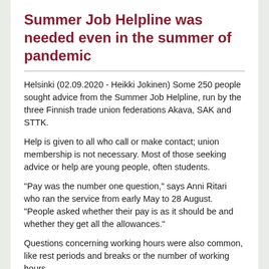Summer Job Helpline was needed even in the summer of pandemic
Helsinki (02.09.2020 - Heikki Jokinen) Some 250 people sought advice from the Summer Job Helpline, run by the three Finnish trade union federations Akava, SAK and STTK.
Help is given to all who call or make contact; union membership is not necessary. Most of those seeking advice or help are young people, often students.
"Pay was the number one question," says Anni Ritari who ran the service from early May to 28 August. "People asked whether their pay is as it should be and whether they get all the allowances."
Questions concerning working hours were also common, like rest periods and breaks or the number of working hours.